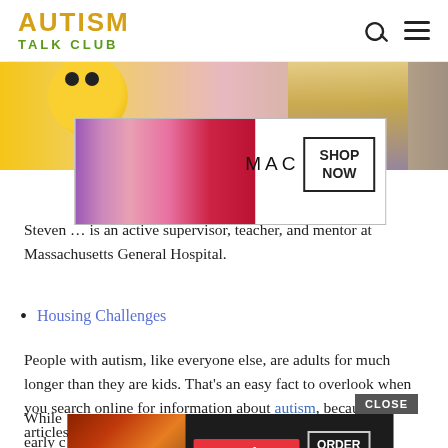AUTISM TALK CLUB
[Figure (photo): Hero image showing emoji and person with blonde hair, partially cropped]
[Figure (other): MAC cosmetics advertisement banner with lipsticks and SHOP NOW box]
Steven ... is an active supervisor, teacher, and mentor at Massachusetts General Hospital.
Housing Challenges
People with autism, like everyone else, are adults for much longer than they are kids. That’s an easy fact to overlook when you search online for information about autism, because most articles and images focus on young children.
While ... in early c... lts
[Figure (other): Seamless food delivery advertisement with pizza image, ORDER NOW button, and CLOSE button]